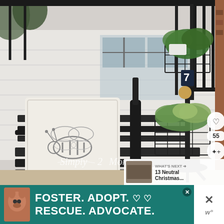[Figure (photo): A porch scene with a black rocking bench, a decorative pillow featuring a bee illustration, a black wire plant stand with two tiers holding potted herbs and ferns, and black metal railings in the background. A 'Simply 2 Moms' watermark is visible. Social interaction buttons (heart, share) and a 'What's Next' banner showing '13 Neutral Christmas...' with a thumbnail are overlaid on the right side.]
[Figure (infographic): Advertisement banner with teal/green background showing a dog image on the left, text reading 'FOSTER. ADOPT. RESCUE. ADVOCATE.' with heart outlines, and a close button. On the right side outside the ad is an X dismiss button and a 'w' logo.]